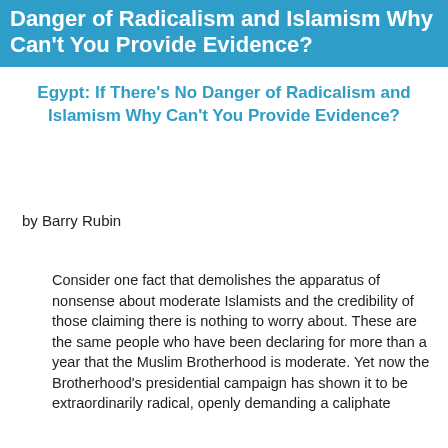Danger of Radicalism and Islamism Why Can't You Provide Evidence?
Egypt: If There's No Danger of Radicalism and Islamism Why Can't You Provide Evidence?
by Barry Rubin
Consider one fact that demolishes the apparatus of nonsense about moderate Islamists and the credibility of those claiming there is nothing to worry about. These are the same people who have been declaring for more than a year that the Muslim Brotherhood is moderate. Yet now the Brotherhood's presidential campaign has shown it to be extraordinarily radical, openly demanding a caliphate